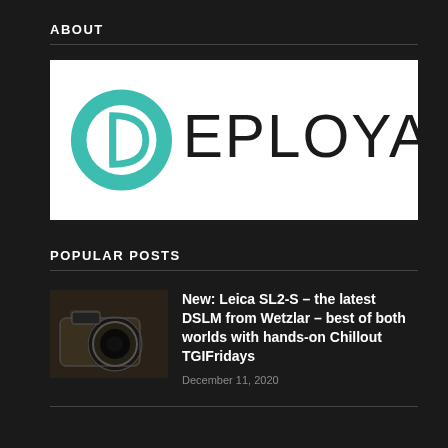ABOUT
[Figure (logo): Deployant logo: teal circle with 'D' letterform on the left, followed by 'EPLOYANT' in thin sans-serif letters on white background]
POPULAR POSTS
[Figure (photo): Photo of a Leica SL2-S camera with lens attached, dark background]
New: Leica SL2-S – the latest DSLM from Wetzlar – best of both worlds with hands-on Chillout TGIFridays
December 11, 2020